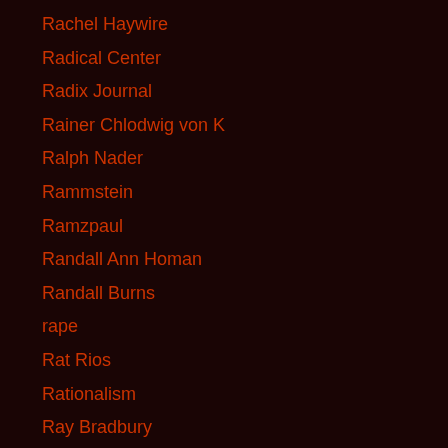Rachel Haywire
Radical Center
Radix Journal
Rainer Chlodwig von K
Ralph Nader
Rammstein
Ramzpaul
Randall Ann Homan
Randall Burns
rape
Rat Rios
Rationalism
Ray Bradbury
Ray Harris
Ray Sawhill